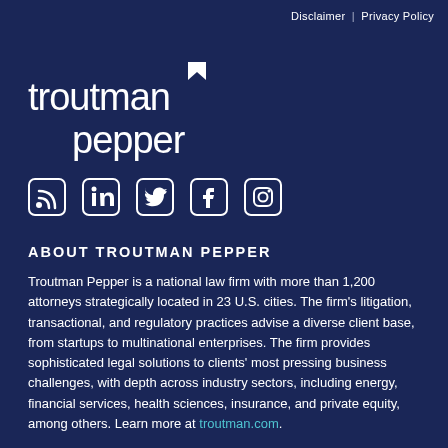Disclaimer | Privacy Policy
[Figure (logo): Troutman Pepper logo in white text on dark navy background]
[Figure (infographic): Social media icons: RSS, LinkedIn, Twitter, Facebook, Instagram]
ABOUT TROUTMAN PEPPER
Troutman Pepper is a national law firm with more than 1,200 attorneys strategically located in 23 U.S. cities. The firm's litigation, transactional, and regulatory practices advise a diverse client base, from startups to multinational enterprises. The firm provides sophisticated legal solutions to clients' most pressing business challenges, with depth across industry sectors, including energy, financial services, health sciences, insurance, and private equity, among others. Learn more at troutman.com.